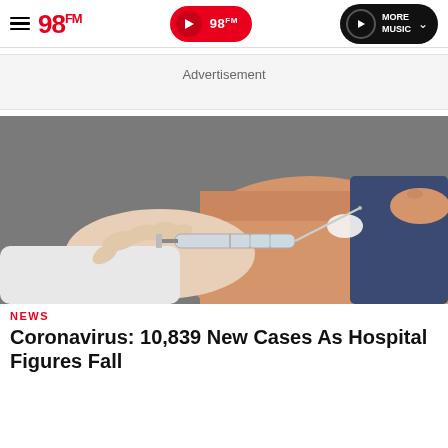98FM navigation header
Advertisement
[Figure (photo): Close-up of a medical professional administering an injection/vaccine into a patient's upper arm. The healthcare worker's hand holds a syringe approaching the patient's skin. A cotton swab is visible on the arm. The background is grey.]
NEWS
Coronavirus: 10,839 New Cases As Hospital Figures Fall